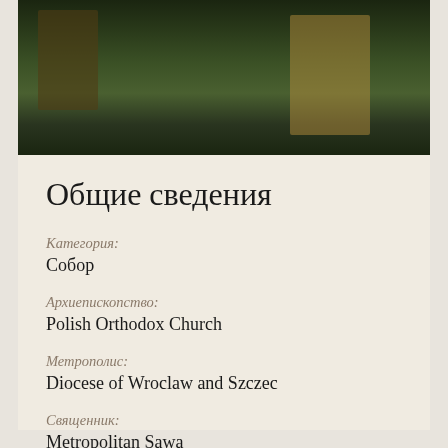[Figure (photo): Outdoor photograph showing trees with green foliage and a building structure with road signs visible in background]
Общие сведения
Категория:
Собор
Архиепископство:
Polish Orthodox Church
Метрополис:
Diocese of Wroclaw and Szczec
Священник:
Metropolitan Sawa